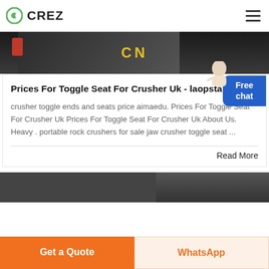CREZ
[Figure (photo): Industrial crusher machine with yellow CN text label on dark machinery]
Prices For Toggle Seat For Crusher Uk - laopsta.org
crusher toggle ends and seats price aimaedu. Prices For Toggle Seat For Crusher Uk Prices For Toggle Seat For Crusher Uk About Us. Heavy . portable rock crushers for sale jaw crusher toggle seat ...
Read More
[Figure (photo): Partial view of another article image at bottom of page]
Get a Quote
WhatsApp